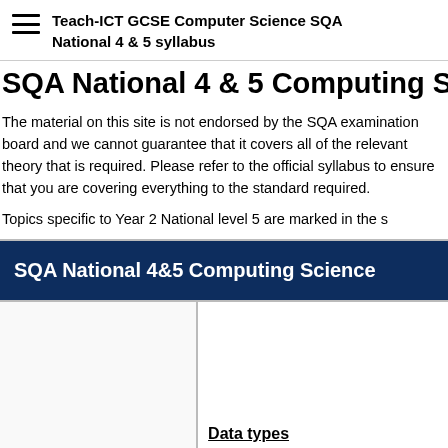Teach-ICT GCSE Computer Science SQA
National 4 & 5 syllabus
SQA National 4 & 5 Computing Scie…
The material on this site is not endorsed by the SQA exami… guarantee that it covers all of the relevant theory that is re… Please refer to the official syllabus to ensure that you are c… standard required.
Topics specific to Year 2 National level 5 are marked in the s…
| SQA National 4&5 Computing Science |  |
| --- | --- |
|  | Data types |